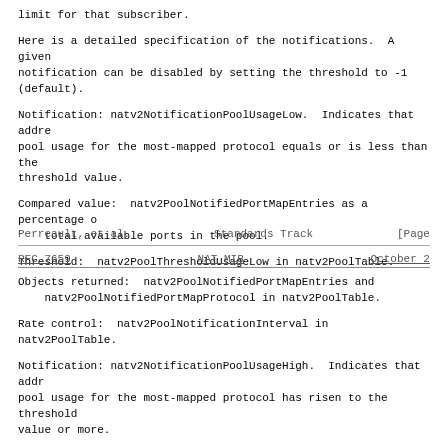limit for that subscriber.
Here is a detailed specification of the notifications.  A given notification can be disabled by setting the threshold to -1 (default).
Notification: natv2NotificationPoolUsageLow.  Indicates that address pool usage for the most-mapped protocol equals or is less than the threshold value.
Compared value:  natv2PoolNotifiedPortMapEntries as a percentage of total available ports in the pool.
Threshold:  natv2PoolThresholdUsageLow in natv2PoolTable.
Perreault, et al.          Standards Track                    [Page
RFC 7659                          NAT MIB                       October 2
Objects returned:  natv2PoolNotifiedPortMapEntries and natv2PoolNotifiedPortMapProtocol in natv2PoolTable.
Rate control:  natv2PoolNotificationInterval in natv2PoolTable.
Notification: natv2NotificationPoolUsageHigh.  Indicates that address pool usage for the most-mapped protocol has risen to the threshold value or more.
Compared value:  natv2PoolNotifiedPortMapEntries as a percentage of total available ports in the pool.
Threshold:  natv2PoolThresholdUsageHigh in natv2PoolTable.